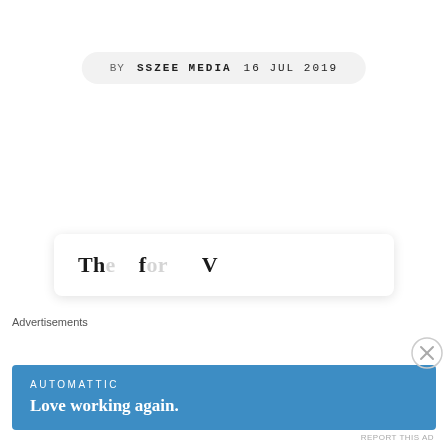BY SSZEE MEDIA   16 JUL 2019
Th... [article title partially visible]
Advertisements
AUTOMATTIC
Love working again.
REPORT THIS AD